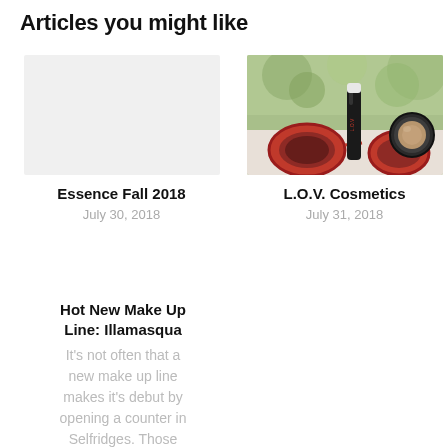Articles you might like
Essence Fall 2018
July 30, 2018
[Figure (photo): Photo of L.O.V. Cosmetics products including mascara, compact powder, and red sunglasses on a blurred green background]
L.O.V. Cosmetics
July 31, 2018
Hot New Make Up Line: Illamasqua
It's not often that a new make up line makes it's debut by opening a counter in Selfridges. Those
August 6, 2008